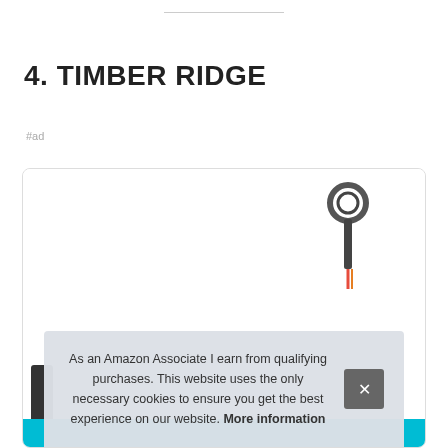4. TIMBER RIDGE
#ad
[Figure (photo): Product image of Timber Ridge item in a rounded box, showing a hook/ring at top right and teal/cyan colored base, partially obscured by cookie consent banner]
As an Amazon Associate I earn from qualifying purchases. This website uses the only necessary cookies to ensure you get the best experience on our website. More information